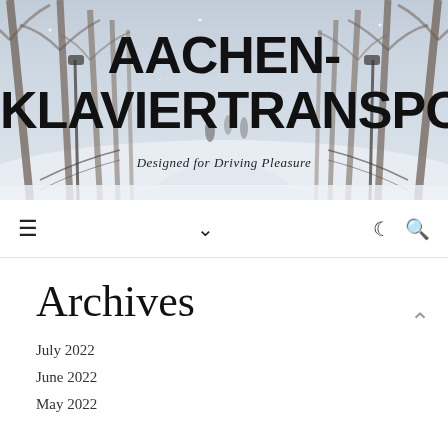[Figure (photo): Winter snow scene with bare trees lining a path, people walking in background, serving as website header banner]
AACHEN-KLAVIERTRANSPORT
Designed for Driving Pleasure
≡  ∨  ☽  🔍
Archives
July 2022
June 2022
May 2022